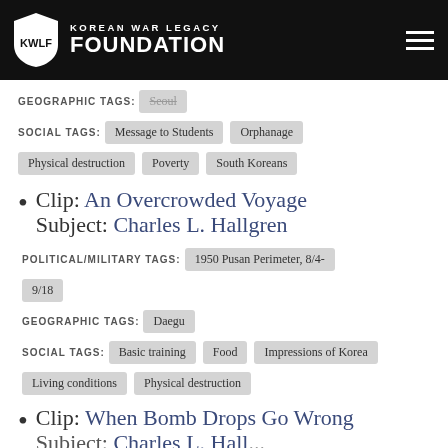KOREAN WAR LEGACY FOUNDATION
GEOGRAPHIC TAGS: Seoul
SOCIAL TAGS: Message to Students  Orphanage  Physical destruction  Poverty  South Koreans
Clip: An Overcrowded Voyage
Subject: Charles L. Hallgren
POLITICAL/MILITARY TAGS: 1950 Pusan Perimeter, 8/4-9/18
GEOGRAPHIC TAGS: Daegu
SOCIAL TAGS: Basic training  Food  Impressions of Korea  Living conditions  Physical destruction
Clip: When Bomb Drops Go Wrong
Subject: Charles L. Hall...